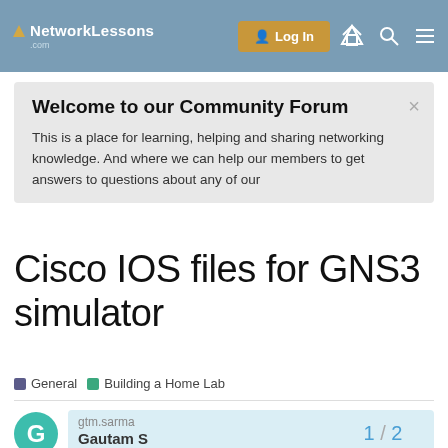NetworkLessons.com | Log In
Welcome to our Community Forum
This is a place for learning, helping and sharing networking knowledge. And where we can help our members to get answers to questions about any of our
Cisco IOS files for GNS3 simulator
General  Building a Home Lab
gtm.sarma  Gautam S   1 / 2